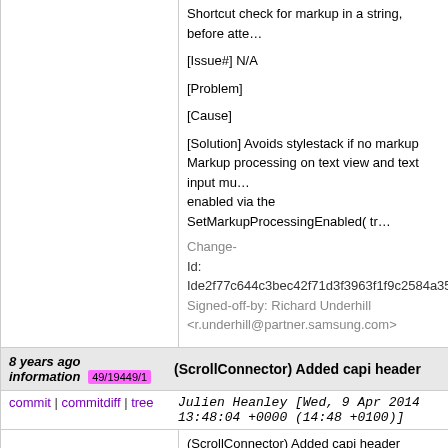Shortcut check for markup in a string, before atte...
[Issue#] N/A
[Problem]
[Cause]
[Solution] Avoids stylestack if no markup
Markup processing on text view and text input mu...
enabled via the SetMarkupProcessingEnabled( tr...
Change-
Id: Ide2f77c644c3bec42f71d3f3963f1f9c2584a353...
Signed-off-by: Richard Underhill <r.underhill@partner.samsung.com>
8 years ago information 49/19449/1 (ScrollConnector) Added capi header
commit | commitdiff | tree   Julien Heanley [Wed, 9 Apr 2014 13:48:04 +0000 (14:48 +0100)]
(ScrollConnector) Added capi header information
[Issue#]  N/A
[Problem]
[Cause]
[Solution]
Change-